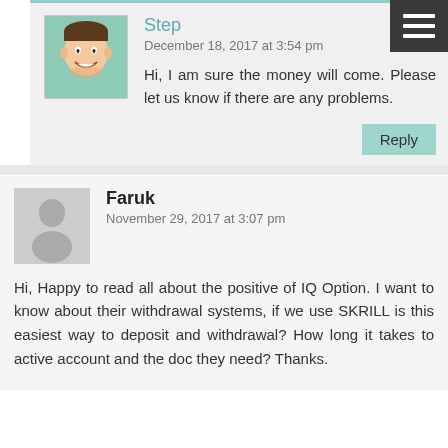Step
December 18, 2017 at 3:54 pm
Hi, I am sure the money will come. Please let us know if there are any problems.
Reply
Faruk
November 29, 2017 at 3:07 pm
Hi, Happy to read all about the positive of IQ Option. I want to know about their withdrawal systems, if we use SKRILL is this easiest way to deposit and withdrawal? How long it takes to active account and the doc they need? Thanks.